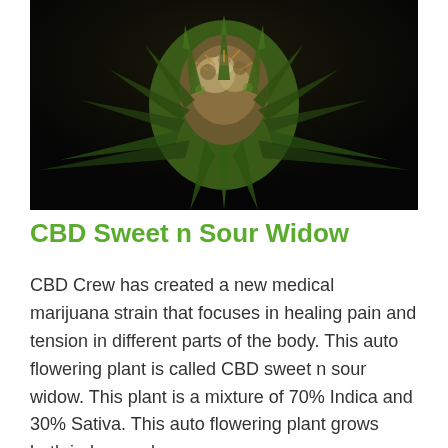[Figure (photo): Close-up photograph of a cannabis plant bud with dense green leaves and trichomes against a dark black background.]
CBD Sweet n Sour Widow
CBD Crew has created a new medical marijuana strain that focuses in healing pain and tension in different parts of the body. This auto flowering plant is called CBD sweet n sour widow. This plant is a mixture of 70% Indica and 30% Sativa. This auto flowering plant grows both indoor and